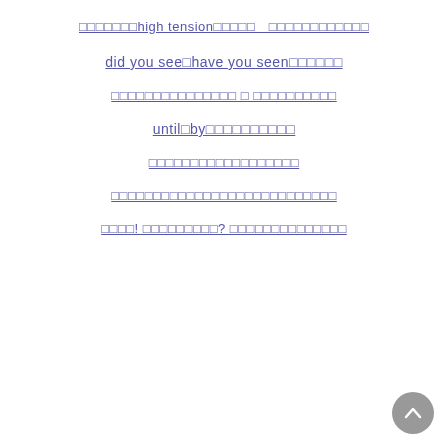□□□□□□□high tension□□□□□　□□□□□□□□□□□□
did you see□have you seen□□□□□□
□□□□□□□□□□□□□□□ □ □□□□□□□□□□
until□by□□□□□□□□□□□
□□□□□□□□□□□□□□□□□□
□□□□□□□□□□□□□□□□□□□□□□□□□□□
□□□□! □□□□□□□□□□? □□□□□□□□□□□□□□